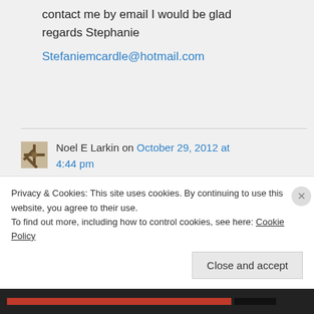contact me by email I would be glad regards Stephanie
Stefaniemcardle@hotmail.com
Noel E Larkin on October 29, 2012 at 4:44 pm
Hi Stephanie, I emailed you last week & trust you received it. I saw
Privacy & Cookies: This site uses cookies. By continuing to use this website, you agree to their use. To find out more, including how to control cookies, see here: Cookie Policy
Close and accept